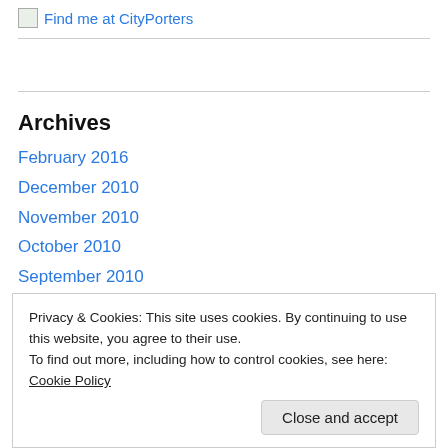[Figure (other): Small image placeholder icon representing 'Find me at CityPorters' link]
Find me at CityPorters
Archives
February 2016
December 2010
November 2010
October 2010
September 2010
March 2010
Privacy & Cookies: This site uses cookies. By continuing to use this website, you agree to their use.
To find out more, including how to control cookies, see here: Cookie Policy
August 2009